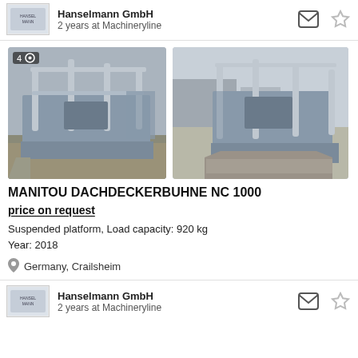Hanselmann GmbH
2 years at Machineryline
[Figure (photo): Two photos of a Manitou Dachdeckerbuhne NC 1000 suspended platform attachment, gray metal frame with grating floor and safety rails, shown outdoors in a parking/industrial area.]
MANITOU DACHDECKERBUHNE NC 1000
price on request
Suspended platform, Load capacity: 920 kg
Year: 2018
Germany, Crailsheim
Hanselmann GmbH
2 years at Machineryline